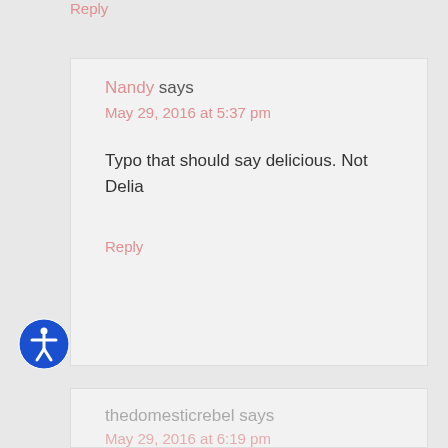Reply
Nandy says
May 29, 2016 at 5:37 pm
Typo that should say delicious. Not Delia
Reply
thedomesticrebel says
May 29, 2016 at 6:19 pm